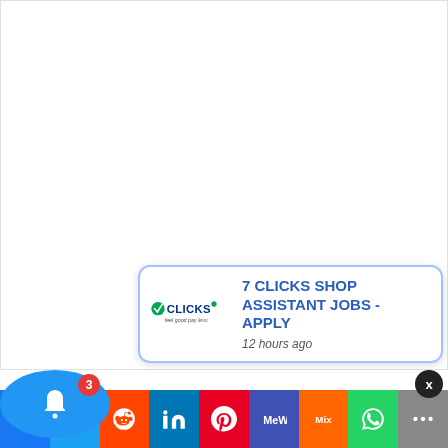[Figure (screenshot): White blank content area representing a webpage with no visible content loaded]
[Figure (other): X close button (dark circle with white X)]
[Figure (other): Notification card with Clicks logo and job listing: '7 CLICKS SHOP ASSISTANT JOBS - APPLY' posted 12 hours ago]
[Figure (other): Blue circular bell notification button with red badge showing number 3]
[Figure (other): Social media share bar with icons: Facebook, Twitter, Reddit, LinkedIn, Pinterest, MeWe, Mix, WhatsApp, More]